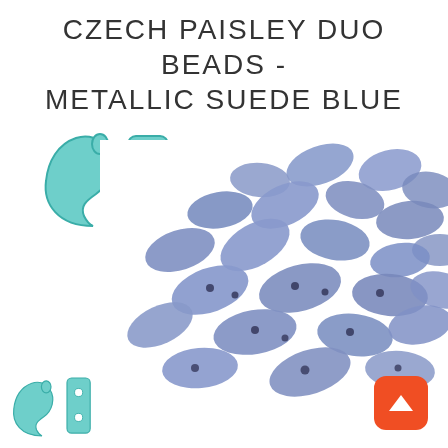CZECH PAISLEY DUO BEADS - METALLIC SUEDE BLUE
[Figure (illustration): Two-view bead diagram showing top and side profile of Paisley Duo bead shape in teal/mint color outline with fill. Left view shows paisley teardrop shape, right view shows rectangular side profile with two holes.]
[Figure (photo): Photograph of a pile of Czech Paisley Duo beads in metallic suede blue color, showing multiple beads scattered, each with a paisley/teardrop shape and two holes.]
[Figure (illustration): Smaller repeat of the two-view bead diagram at the bottom left, showing paisley and side profile in teal/mint.]